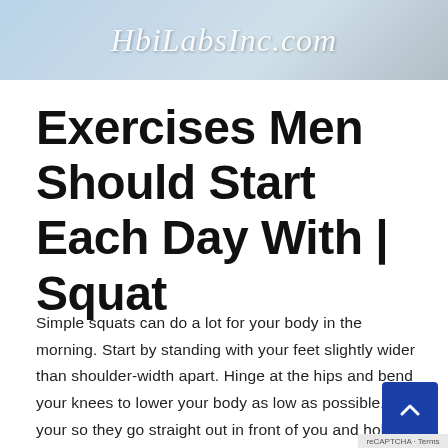[Figure (photo): Website banner image with cursive text reading 'HbiLabsInc.com' overlaid on a light blue/grey background suggesting a fitness or gym setting]
Exercises Men Should Start Each Day With | Squat
Simple squats can do a lot for your body in the morning. Start by standing with your feet slightly wider than shoulder-width apart. Hinge at the hips and bend your knees to lower your body as low as possible. Lift your so they go straight out in front of you and hold them as you squat. Repeat the process for 60 seconds.